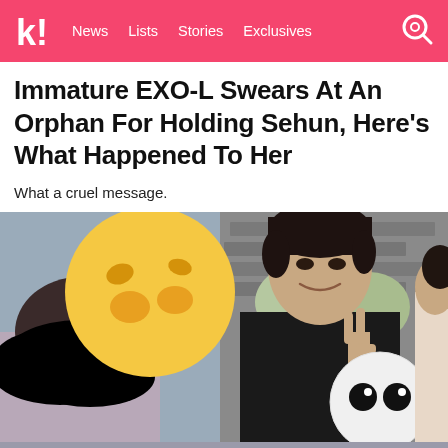k! News  Lists  Stories  Exclusives
Immature EXO-L Swears At An Orphan For Holding Sehun, Here’s What Happened To Her
What a cruel message.
[Figure (photo): Photo of a young man (Sehun) smiling and making a peace sign, holding a white round character plushie with black eyes. A person beside him has their face blurred with a black scribble. A yellow emoji sticker partially covers another person's face. Background shows brick wall and trees.]